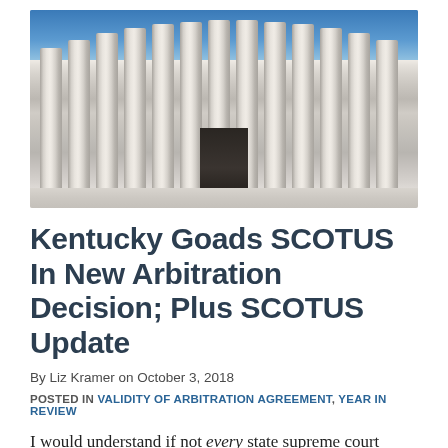[Figure (photo): Photograph of the U.S. Supreme Court building columns and entrance steps from a low angle, with blue sky in the background.]
Kentucky Goads SCOTUS In New Arbitration Decision; Plus SCOTUS Update
By Liz Kramer on October 3, 2018
POSTED IN VALIDITY OF ARBITRATION AGREEMENT, YEAR IN REVIEW
I would understand if not every state supreme court